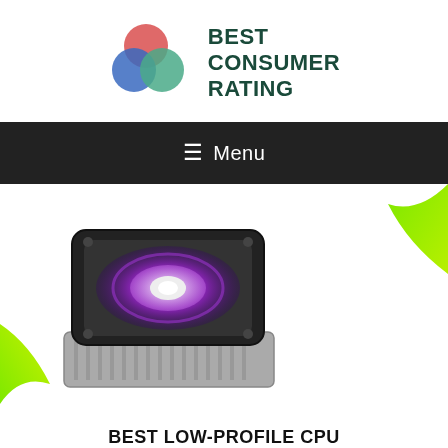[Figure (logo): Best Consumer Rating logo with overlapping red, blue, and green circles and bold dark teal text reading BEST CONSUMER RATING]
≡ Menu
[Figure (photo): A low-profile CPU cooler with a square black frame and glowing purple/violet fan light, sitting on a heatsink base]
[Figure (illustration): Green-yellow decorative swoosh shape in top right corner]
[Figure (illustration): Green-yellow decorative swoosh shape in bottom left corner]
BEST LOW-PROFILE CPU